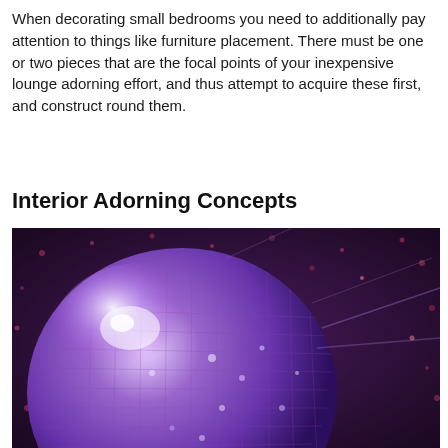When decorating small bedrooms you need to additionally pay attention to things like furniture placement. There must be one or two pieces that are the focal points of your inexpensive lounge adorning effort, and thus attempt to acquire these first, and construct round them.
Interior Adorning Concepts
[Figure (photo): Close-up photo of a purple/violet disco mirror ball with reflected light spots on a dark purple background.]